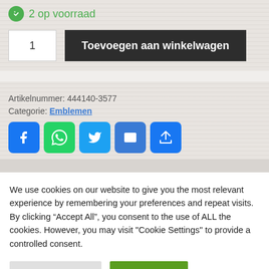2 op voorraad
1  Toevoegen aan winkelwagen
Artikelnummer: 444140-3577
Categorie: Emblemen
[Figure (infographic): Social share buttons: Facebook, WhatsApp, Twitter, Email, Share]
We use cookies on our website to give you the most relevant experience by remembering your preferences and repeat visits. By clicking “Accept All”, you consent to the use of ALL the cookies. However, you may visit "Cookie Settings" to provide a controlled consent.
Cookie Settings  Accept All